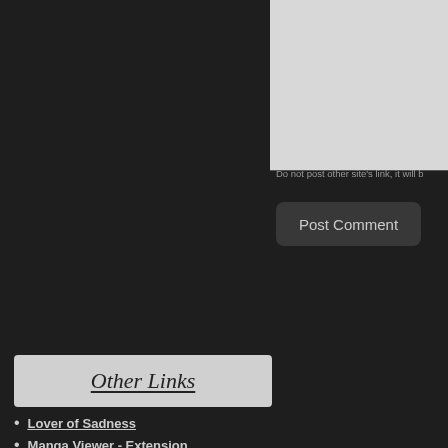[Figure (screenshot): A light gray textarea input box (comment form area) partially visible on the right side of the page]
Do not post other site's link, it will b
Post Comment
Other Links
Lover of Sadness
Manga Viewer - Extension